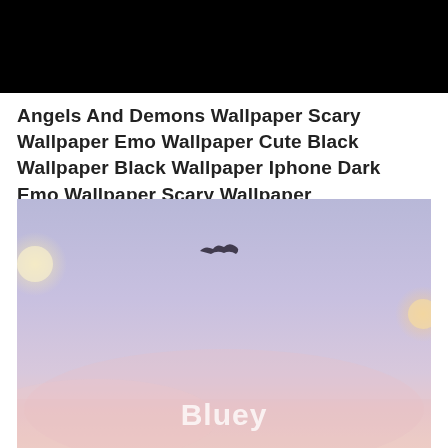[Figure (photo): Black rectangular banner/header area at the top of the page]
Angels And Demons Wallpaper Scary Wallpaper Emo Wallpaper Cute Black Wallpaper Black Wallpaper Iphone Dark Emo Wallpaper Scary Wallpaper
[Figure (photo): A dreamy pastel sky image with soft lavender, pink, and peach tones. A small dark bird silhouette appears in the upper center area. Two soft circular light orbs are visible on the left and right edges. At the bottom center, the word 'Bluey' appears in white rounded/bubble letters.]